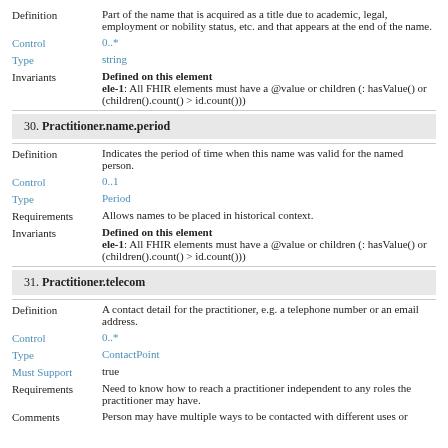Definition: Part of the name that is acquired as a title due to academic, legal, employment or nobility status, etc. and that appears at the end of the name.
Control: 0..*
Type: string
Invariants: Defined on this element ele-1: All FHIR elements must have a @value or children (: hasValue() or (children().count() > id.count()))
30. Practitioner.name.period
Definition: Indicates the period of time when this name was valid for the named person.
Control: 0..1
Type: Period
Requirements: Allows names to be placed in historical context.
Invariants: Defined on this element ele-1: All FHIR elements must have a @value or children (: hasValue() or (children().count() > id.count()))
31. Practitioner.telecom
Definition: A contact detail for the practitioner, e.g. a telephone number or an email address.
Control: 0..*
Type: ContactPoint
Must Support: true
Requirements: Need to know how to reach a practitioner independent to any roles the practitioner may have.
Comments: Person may have multiple ways to be contacted with different uses or